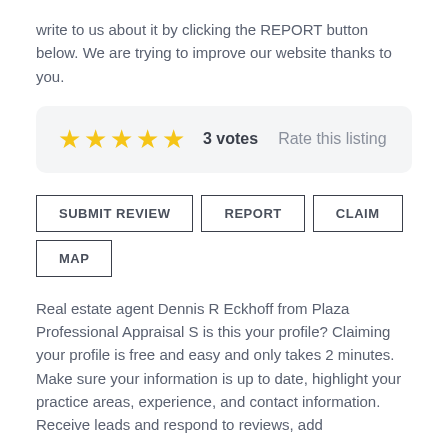write to us about it by clicking the REPORT button below. We are trying to improve our website thanks to you.
[Figure (other): Star rating widget showing 5 gold stars, '3 votes', and 'Rate this listing' text on a light grey rounded background]
SUBMIT REVIEW
REPORT
CLAIM
MAP
Real estate agent Dennis R Eckhoff from Plaza Professional Appraisal S is this your profile? Claiming your profile is free and easy and only takes 2 minutes. Make sure your information is up to date, highlight your practice areas, experience, and contact information. Receive leads and respond to reviews, add